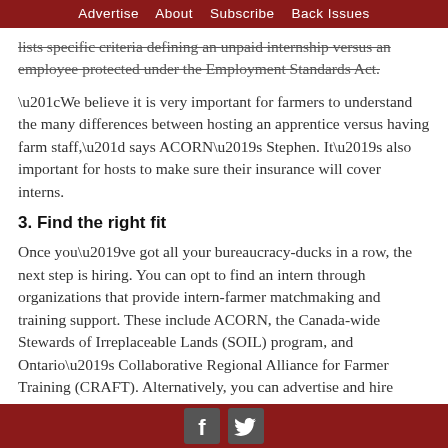Advertise   About   Subscribe   Back Issues
lists specific criteria defining an unpaid internship versus an employee protected under the Employment Standards Act.
“We believe it is very important for farmers to understand the many differences between hosting an apprentice versus having farm staff,” says ACORN’s Stephen. It’s also important for hosts to make sure their insurance will cover interns.
3. Find the right fit
Once you’ve got all your bureaucracy-ducks in a row, the next step is hiring. You can opt to find an intern through organizations that provide intern-farmer matchmaking and training support. These include ACORN, the Canada-wide Stewards of Irreplaceable Lands (SOIL) program, and Ontario’s Collaborative Regional Alliance for Farmer Training (CRAFT). Alternatively, you can advertise and hire independently.